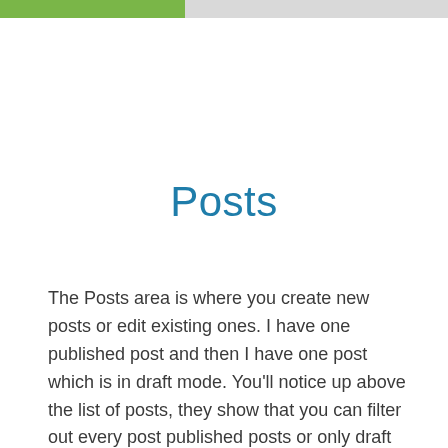Posts
The Posts area is where you create new posts or edit existing ones. I have one published post and then I have one post which is in draft mode. You'll notice up above the list of posts, they show that you can filter out every post published posts or only draft posts. You can search for specific posts or